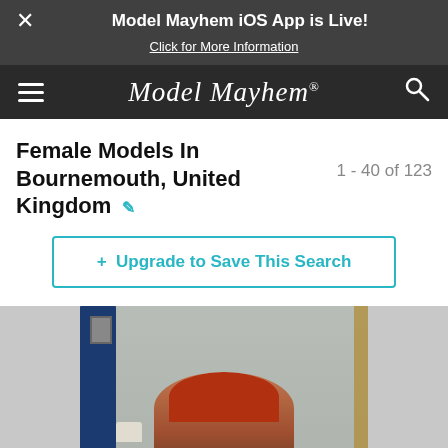Model Mayhem iOS App is Live! Click for More Information
Model Mayhem®
Female Models In Bournemouth, United Kingdom
1 - 40 of 123
+ Upgrade to Save This Search
[Figure (photo): Partial photo of a female model in a bedroom setting with blue curtains and decorative wallpaper, visible from shoulders up with red/auburn hair]